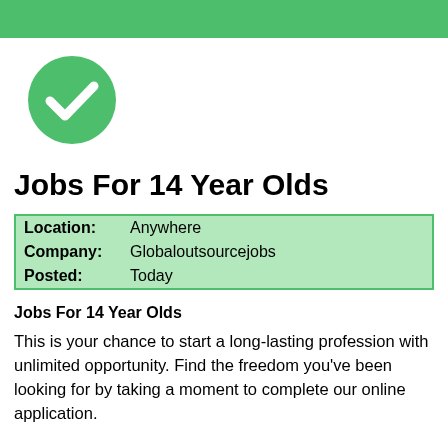[Figure (illustration): Green circle with white checkmark icon]
Jobs For 14 Year Olds
| Location: | Anywhere |
| Company: | Globaloutsourcejobs |
| Posted: | Today |
Jobs For 14 Year Olds
This is your chance to start a long-lasting profession with unlimited opportunity. Find the freedom you've been looking for by taking a moment to complete our online application.